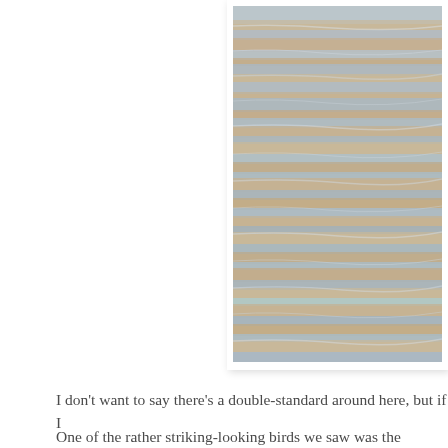[Figure (photo): A close-up photograph of rippling water surface with light tan/brown and pale blue-grey tones, showing gentle waves and reflections.]
I don't want to say there's a double-standard around here, but if I
One of the rather striking-looking birds we saw was the Yellow